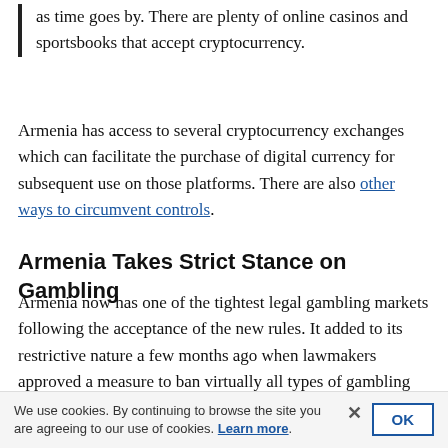as time goes by. There are plenty of online casinos and sportsbooks that accept cryptocurrency.
Armenia has access to several cryptocurrency exchanges which can facilitate the purchase of digital currency for subsequent use on those platforms. There are also other ways to circumvent controls.
Armenia Takes Strict Stance on Gambling
Armenia now has one of the tightest legal gambling markets following the acceptance of the new rules. It added to its restrictive nature a few months ago when lawmakers approved a measure to ban virtually all types of gambling advertising.
We use cookies. By continuing to browse the site you are agreeing to our use of cookies. Learn more.